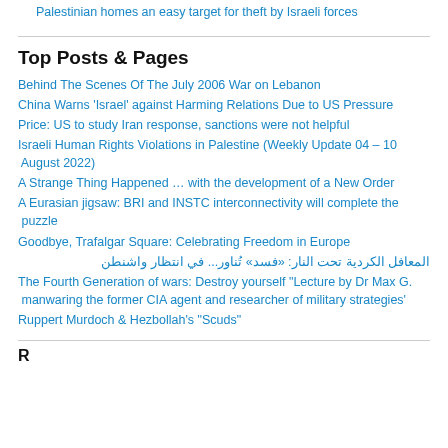Palestinian homes an easy target for theft by Israeli forces
Top Posts & Pages
Behind The Scenes Of The July 2006 War on Lebanon
China Warns 'Israel' against Harming Relations Due to US Pressure
Price: US to study Iran response, sanctions were not helpful
Israeli Human Rights Violations in Palestine (Weekly Update 04 – 10 August 2022)
A Strange Thing Happened … with the development of a New Order
A Eurasian jigsaw: BRI and INSTC interconnectivity will complete the puzzle
Goodbye, Trafalgar Square: Celebrating Freedom in Europe
المعافل الكردية تحت النار: «فسد» تُناور... في انتظار واشنطن
The Fourth Generation of wars: Destroy yourself "Lecture by Dr Max G. manwaring the former CIA agent and researcher of military strategies'
Ruppert Murdoch & Hezbollah's "Scuds"